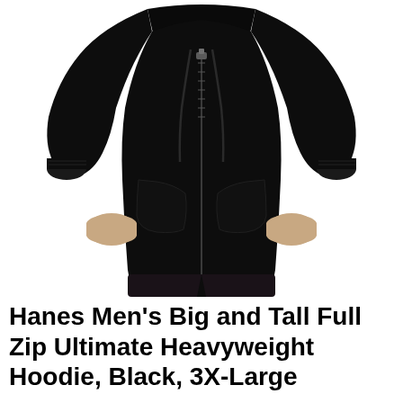[Figure (photo): A man wearing a black full-zip heavyweight hoodie by Hanes. The photo shows the torso and arms of a male model wearing a black zip-up hoodie with visible zipper, drawstrings, and kangaroo pocket. He is wearing a grey shirt underneath. The background is white.]
Hanes Men's Big and Tall Full Zip Ultimate Heavyweight Hoodie, Black, 3X-Large